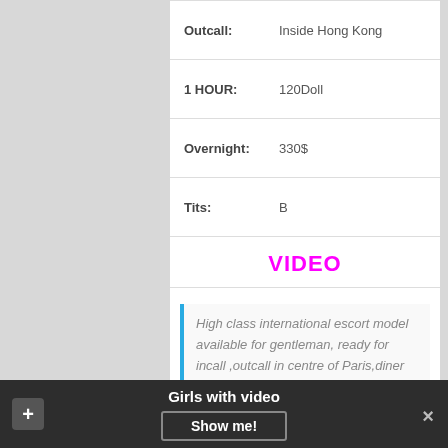| Outcall: | Inside Hong Kong |
| 1 HOUR: | 120Doll |
| Overnight: | 330$ |
| Tits: | B |
VIDEO
High class international escort model available for gentleman, ready for incall ,outcall in centre of Paris,diner date and traveling
Agnes
Girls with video  Show me!